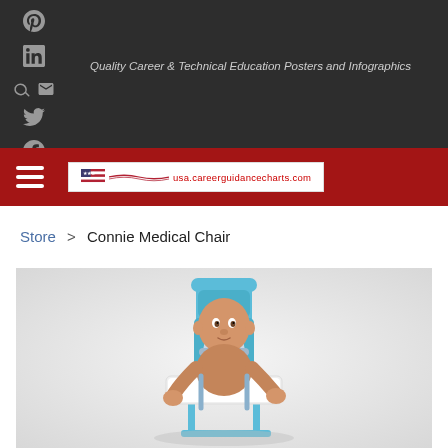Quality Career & Technical Education Posters and Infographics
Store > Connie Medical Chair
[Figure (photo): 3D render of a baby/toddler mannequin seated in a blue pediatric medical chair (Connie Medical Chair) with harness straps and a white tray, on a light gray background.]